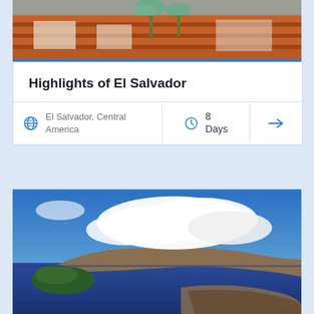[Figure (photo): Aerial view of terracotta rooftops and white colonial buildings with palm trees]
Highlights of El Salvador
El Salvador, Central America
8 Days
[Figure (photo): Aerial landscape photo of a lake with islands and mountains under blue sky with large white clouds]